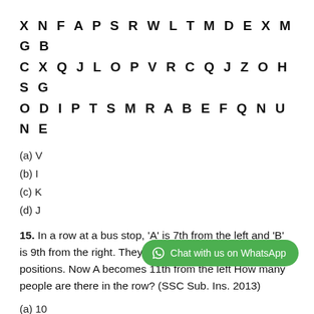X N F A P S R W L T M D E X M G B
C X Q J L O P V R C Q J Z O H S G
O D I P T S M R A B E F Q N U N E
(a) V
(b) I
(c) K
(d) J
15. In a row at a bus stop, ‘A’ is 7th from the left and ‘B’ is 9th from the right. They both interchange their positions. Now A becomes 11th from the left How many people are there in the row? (SSC Sub. Ins. 2013)
(a) 10
(b) 20
(c) 19